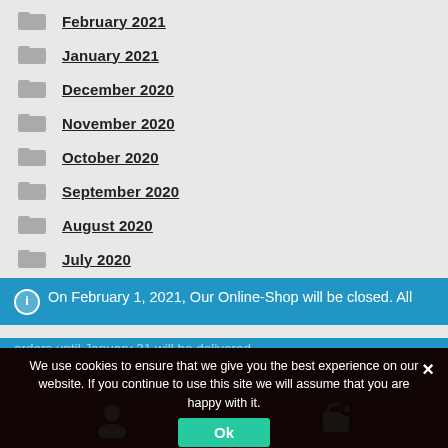February 2021
January 2021
December 2020
November 2020
October 2020
September 2020
August 2020
July 2020
On February 1, 2021, Our Online-Shop will be closed. All orders until January 31 will be delivered
Dismiss
We use cookies to ensure that we give you the best experience on our website. If you continue to use this site we will assume that you are happy with it.